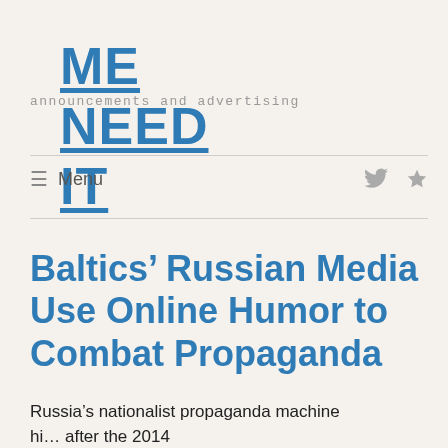ME NEED IT
announcements and advertising
≡ Menu
Baltics’ Russian Media Use Online Humor to Combat Propaganda
Russia’s nationalist propaganda machine hi… after the 2014